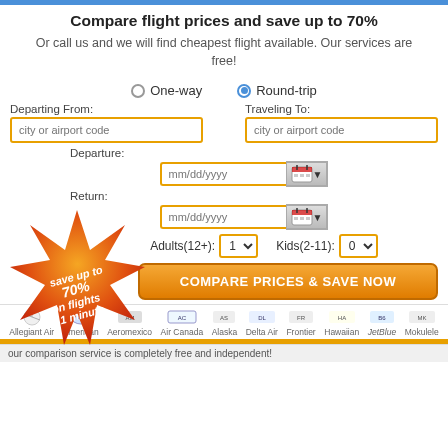Compare flight prices and save up to 70%
Or call us and we will find cheapest flight available. Our services are free!
[Figure (infographic): Star-shaped badge with gradient orange/red color and white italic text reading 'save up to 70% on flights in 1 minute']
One-way   Round-trip (radio buttons)
Departing From: [city or airport code]   Traveling To: [city or airport code]
Departure: mm/dd/yyyy | Return: mm/dd/yyyy
Adults(12+): 1   Kids(2-11): 0
COMPARE PRICES & SAVE NOW
Allegiant Air  American  Aeromexico  Air Canada  Alaska  Delta Air  Frontier  Hawaiian  JetBlue  Mokulele
our comparison service is completely free and independent!